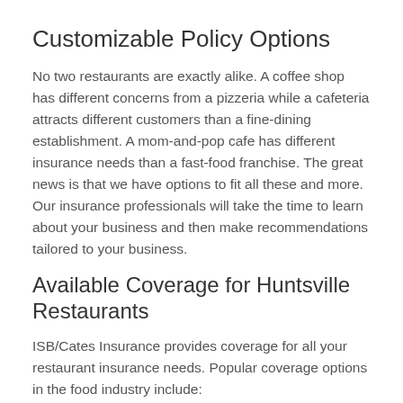Customizable Policy Options
No two restaurants are exactly alike. A coffee shop has different concerns from a pizzeria while a cafeteria attracts different customers than a fine-dining establishment. A mom-and-pop cafe has different insurance needs than a fast-food franchise. The great news is that we have options to fit all these and more. Our insurance professionals will take the time to learn about your business and then make recommendations tailored to your business.
Available Coverage for Huntsville Restaurants
ISB/Cates Insurance provides coverage for all your restaurant insurance needs. Popular coverage options in the food industry include:
Workers compensation insurance to protect employees and employers
Data loss and identity theft protection to protect your restaurant and your customers